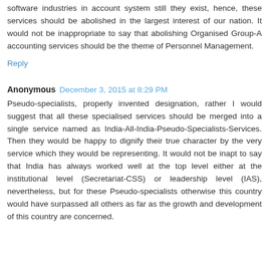software industries in account system still they exist, hence, these services should be abolished in the largest interest of our nation. It would not be inappropriate to say that abolishing Organised Group-A accounting services should be the theme of Personnel Management.
Reply
Anonymous  December 3, 2015 at 8:29 PM
Pseudo-specialists, properly invented designation, rather I would suggest that all these specialised services should be merged into a single service named as India-All-India-Pseudo-Specialists-Services. Then they would be happy to dignify their true character by the very service which they would be representing. It would not be inapt to say that India has always worked well at the top level either at the institutional level (Secretariat-CSS) or leadership level (IAS), nevertheless, but for these Pseudo-specialists otherwise this country would have surpassed all others as far as the growth and development of this country are concerned.